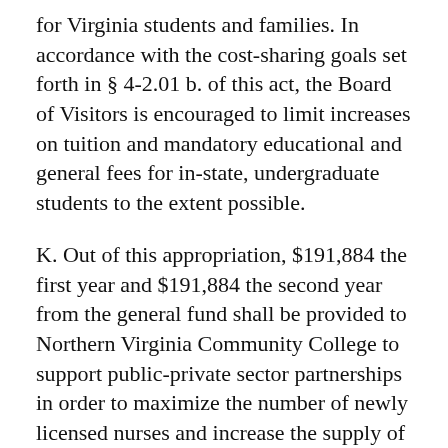for Virginia students and families. In accordance with the cost-sharing goals set forth in § 4-2.01 b. of this act, the Board of Visitors is encouraged to limit increases on tuition and mandatory educational and general fees for in-state, undergraduate students to the extent possible.
K. Out of this appropriation, $191,884 the first year and $191,884 the second year from the general fund shall be provided to Northern Virginia Community College to support public-private sector partnerships in order to maximize the number of newly licensed nurses and increase the supply of nursing faculty.
L. Out of this appropriation, $489,000 the first year and $489,000 the second year from the general fund is designated for Northern Virginia Community College to implement the SySTEMic Solutions initiative which will enable expansion of dual